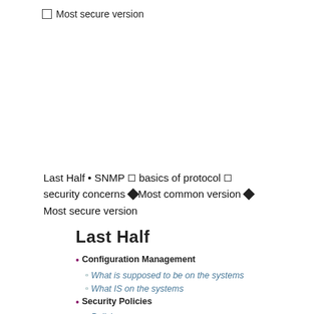☐Most secure version
Last Half • SNMP ▫ basics of protocol ▫ security concerns ◆Most common version ◆Most secure version
[Figure (other): Decorative divider bar with dark navy and teal gradient stripes]
Last Half
• Configuration Management
▫ What is supposed to be on the systems
▫ What IS on the systems
• Security Policies
▫ Policies
▫ Procedures
▫ Objectives
☐Confidentiality